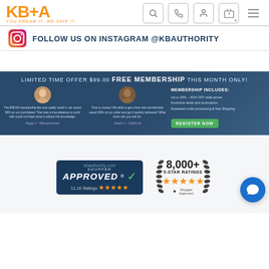[Figure (logo): KB+A logo with tagline YOU DREAM IT. WE SHIP IT.]
[Figure (infographic): Navigation icons: search, phone, account, cart (0), menu]
FOLLOW US ON INSTAGRAM @KBAUTHORITY
[Figure (infographic): Membership banner: LIMITED TIME OFFER $99.00 FREE MEMBERSHIP THIS MONTH ONLY! with two testimonials and membership benefits. Register Now button.]
[Figure (logo): kbauthority.com Shopper Approved badge with 11.1K Ratings and 5 stars]
[Figure (infographic): 8,000+ 5-STAR RATINGS Shopper Approved badge with laurel wreath and stars]